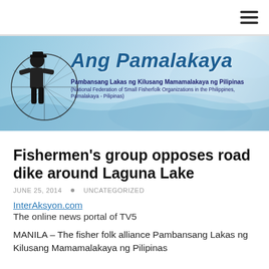[Figure (logo): Ang Pamalakaya website banner with fisherman illustration and text logo. Subtitle: Pambansang Lakas ng Kilusang Mamamalakaya ng Pilipinas (National Federation of Small Fisherfolk Organizations in the Philippines, Pamalakaya - Pilipinas)]
Fishermen’s group opposes road dike around Laguna Lake
JUNE 25, 2014 • UNCATEGORIZED
InterAksyon.com
The online news portal of TV5
MANILA – The fisher folk alliance Pambansang Lakas ng Kilusang Mamamalakaya ng Pilipinas